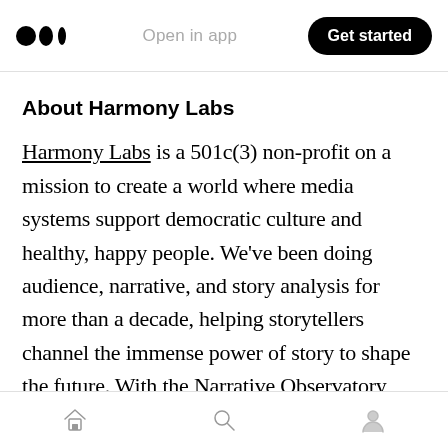Open in app | Get started
About Harmony Labs
Harmony Labs is a 501c(3) non-profit on a mission to create a world where media systems support democratic culture and healthy, happy people. We've been doing audience, narrative, and story analysis for more than a decade, helping storytellers channel the immense power of story to shape the future. With the Narrative Observatory project, for the first time ever, we're harnessing powerful industry relationships and an academic research network to develop data
Home | Search | Profile